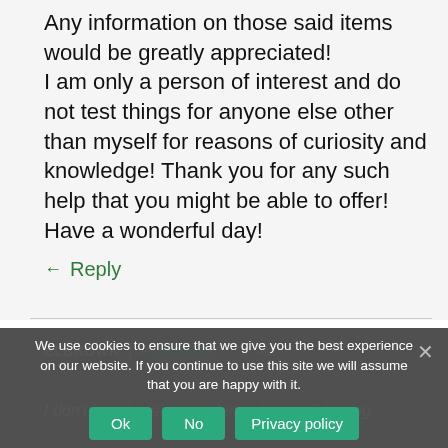Any information on those said items would be greatly appreciated!
I am only a person of interest and do not test things for anyone else other than myself for reasons of curiosity and knowledge! Thank you for any such help that you might be able to offer!
Have a wonderful day!
← Reply
We use cookies to ensure that we give you the best experience on our website. If you continue to use this site we will assume that you are happy with it.
ELBROWN | POSTED 2 AM
I don't recall seeing anything about soil having